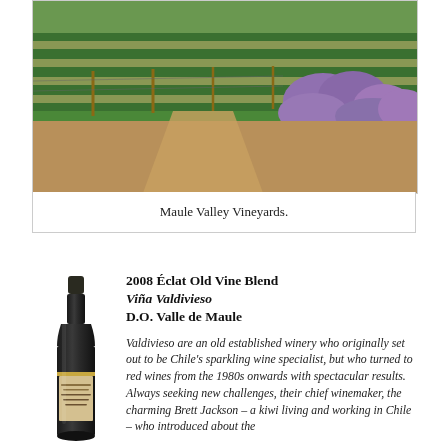[Figure (photo): Aerial view of Maule Valley Vineyards showing rows of green grapevines alongside purple lavender bushes in a sunlit landscape.]
Maule Valley Vineyards.
[Figure (photo): A dark wine bottle with gold label reading Éclat, standing upright.]
2008 Éclat Old Vine Blend
Viña Valdivieso
D.O. Valle de Maule
Valdivieso are an old established winery who originally set out to be Chile's sparkling wine specialist, but who turned to red wines from the 1980s onwards with spectacular results. Always seeking new challenges, their chief winemaker, the charming Brett Jackson – a kiwi living and working in Chile – who introduced about the